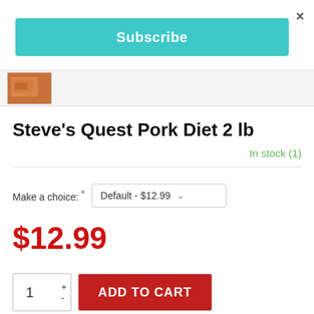×
Subscribe
[Figure (photo): Product thumbnail image showing pork diet product]
Steve's Quest Pork Diet 2 lb
In stock (1)
Make a choice: * Default - $12.99
$12.99
1 + - ADD TO CART